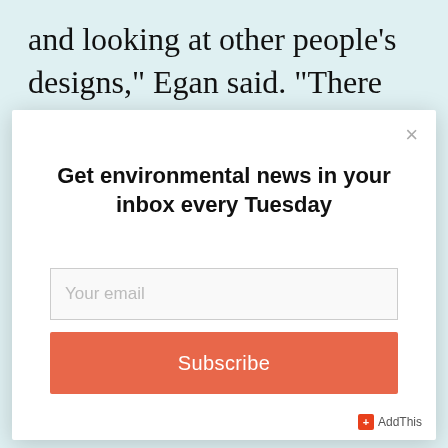and looking at other people's designs,” Egan said. “There were a couple designs on the internet, and we printed
[Figure (screenshot): Modal popup dialog with close button (×), heading 'Get environmental news in your inbox every Tuesday', an email input field with placeholder 'Your email', an orange 'Subscribe' button, and an AddThis badge in the bottom right corner.]